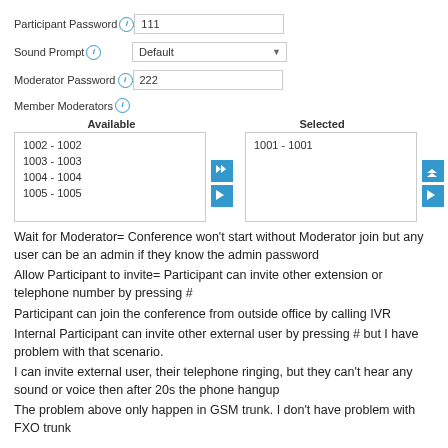[Figure (screenshot): Conference settings form with fields: Participant Password (111), Sound Prompt (Default dropdown), Moderator Password (222), Member Moderators with Available list (1002-1002, 1003-1003, 1004-1004, 1005-1005) and Selected list (1001-1001), plus checkboxes for Wait for Moderator and Allow Participant to Invite]
Wait for Moderator= Conference won’t start without Moderator join but any user can be an admin if they know the admin password
Allow Participant to invite= Participant can invite other extension or telephone number by pressing #
Participant can join the conference from outside office by calling IVR
Internal Participant can invite other external user by pressing # but I have problem with that scenario.
I can invite external user, their telephone ringing, but they can’t hear any sound or voice then after 20s the phone hangup
The problem above only happen in GSM trunk. I don’t have problem with FXO trunk